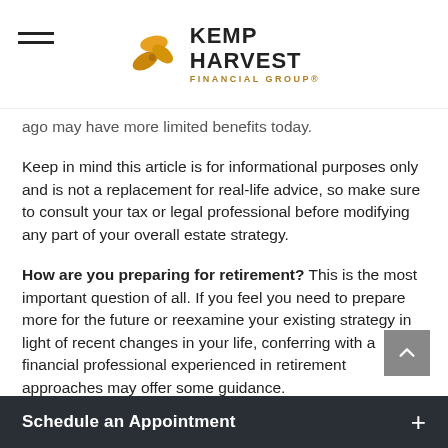Kemp Harvest Financial Group
ago may have more limited benefits today.
Keep in mind this article is for informational purposes only and is not a replacement for real-life advice, so make sure to consult your tax or legal professional before modifying any part of your overall estate strategy.
How are you preparing for retirement? This is the most important question of all. If you feel you need to prepare more for the future or reexamine your existing strategy in light of recent changes in your life, conferring with a financial professional experienced in retirement approaches may offer some guidance.
The content is developed from sources believed to be providing accurate information. The information in this material is not intended as tax or legal advice. It may not be used for the purpose of avoiding any federal tax penalties. Please consult
Schedule an Appointment